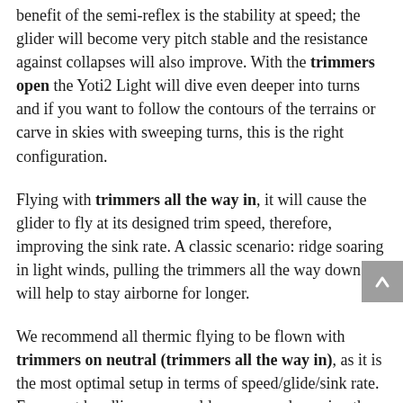benefit of the semi-reflex is the stability at speed; the glider will become very pitch stable and the resistance against collapses will also improve. With the trimmers open the Yoti2 Light will dive even deeper into turns and if you want to follow the contours of the terrains or carve in skies with sweeping turns, this is the right configuration.
Flying with trimmers all the way in, it will cause the glider to fly at its designed trim speed, therefore, improving the sink rate. A classic scenario: ridge soaring in light winds, pulling the trimmers all the way down will help to stay airborne for longer.
We recommend all thermic flying to be flown with trimmers on neutral (trimmers all the way in), as it is the most optimal setup in terms of speed/glide/sink rate. For sweet handling, we would recommend opening the trimmers by 10mm only. Fine-tuning the